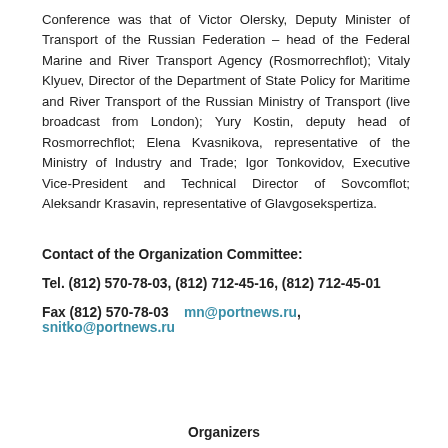Conference was that of Victor Olersky, Deputy Minister of Transport of the Russian Federation – head of the Federal Marine and River Transport Agency (Rosmorrechflot); Vitaly Klyuev, Director of the Department of State Policy for Maritime and River Transport of the Russian Ministry of Transport (live broadcast from London); Yury Kostin, deputy head of Rosmorrechflot; Elena Kvasnikova, representative of the Ministry of Industry and Trade; Igor Tonkovidov, Executive Vice-President and Technical Director of Sovcomflot; Aleksandr Krasavin, representative of Glavgosekspertiza.
Contact of the Organization Committee:
Tel. (812) 570-78-03, (812) 712-45-16, (812) 712-45-01
Fax (812) 570-78-03   mn@portnews.ru,  snitko@portnews.ru
Organizers